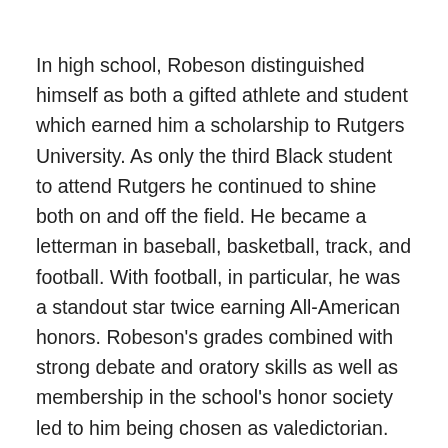In high school, Robeson distinguished himself as both a gifted athlete and student which earned him a scholarship to Rutgers University. As only the third Black student to attend Rutgers he continued to shine both on and off the field. He became a letterman in baseball, basketball, track, and football. With football, in particular, he was a standout star twice earning All-American honors. Robeson's grades combined with strong debate and oratory skills as well as membership in the school's honor society led to him being chosen as valedictorian.
Following graduation, Robeson relocated to Harlem and enrolled at Columbia University's Law School. Robeson supported himself and covered his tuition by playing professional football and teaching Latin. In 1923, Robeson